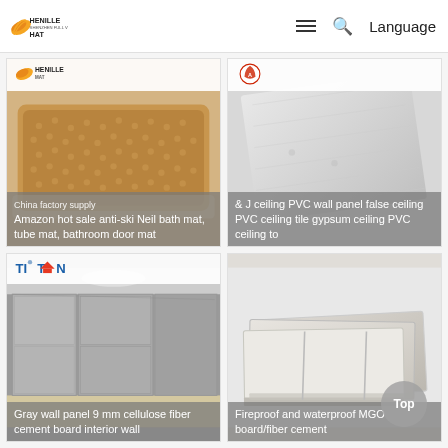[Figure (screenshot): Website header/navbar with Henille Hat logo on the left, and hamburger menu, search icon, and Language text on the right]
[Figure (photo): Product card top-left: China factory supply Amazon hot sale anti-ski Neil bath mat, tube mat, bathroom door mat. Tan/beige bath mat image with Henille Mat branding.]
[Figure (photo): Product card top-right: &amp; J ceiling PVC wall panel false ceiling PVC ceiling tile gypsum ceiling PVC ceiling to. Light gray/marble textured panel image.]
[Figure (photo): Product card bottom-left: Gray wall panel 9 mm cellulose fiber cement board interior wall. Interior room with gray wall panels, TITAN brand logo.]
[Figure (photo): Product card bottom-right: Fireproof and waterproof MGO board/fiber cement. White/cream panel boards stacked, with Top button overlay.]